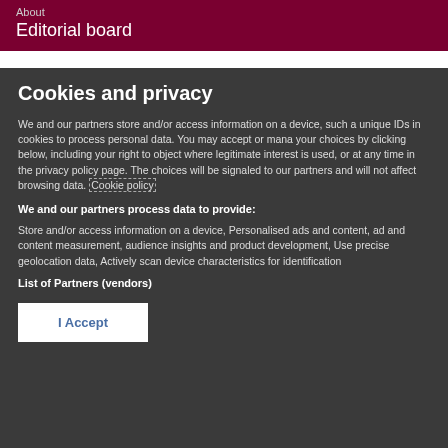About
Editorial board
Cookies and privacy
We and our partners store and/or access information on a device, such as unique IDs in cookies to process personal data. You may accept or manage your choices by clicking below, including your right to object where legitimate interest is used, or at any time in the privacy policy page. These choices will be signaled to our partners and will not affect browsing data. Cookie policy
We and our partners process data to provide:
Store and/or access information on a device, Personalised ads and content, ad and content measurement, audience insights and product development, Use precise geolocation data, Actively scan device characteristics for identification
List of Partners (vendors)
I Accept